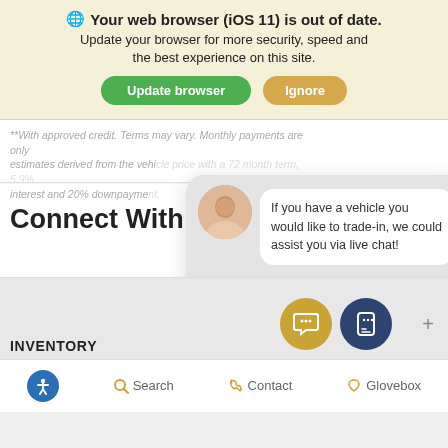🌐 Your web browser (iOS 11) is out of date.
Update your browser for more security, speed and the best experience on this site.
Update browser  Ignore
**With approved credit. Terms may vary. Monthly payments are only estimates derived from the vehicle price with a 72 month term, 5.9% interest and 20% downpayment.
Connect With Us
[Figure (screenshot): Chat widget with female avatar and message bubble: 'If you have a vehicle you would like to trade-in, we could assist you via live chat!' with a text input field 'Enter your message']
INVENTORY
🔵 Accessibility  🔍 Search  📞 Contact  ❤ Glovebox